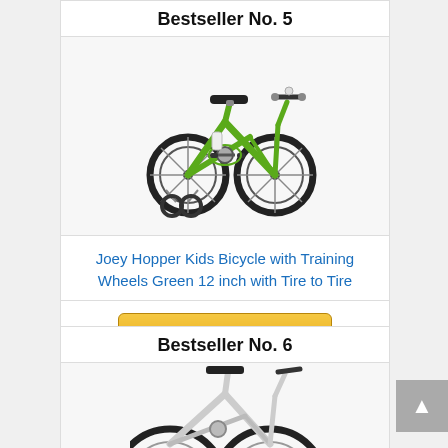Bestseller No. 5
[Figure (photo): Green kids bicycle with training wheels, 12 inch, side view on white background]
Joey Hopper Kids Bicycle with Training Wheels Green 12 inch with Tire to Tire
Buy on Amazon
Bestseller No. 6
[Figure (photo): White kids bicycle, partial view, bottom portion visible]